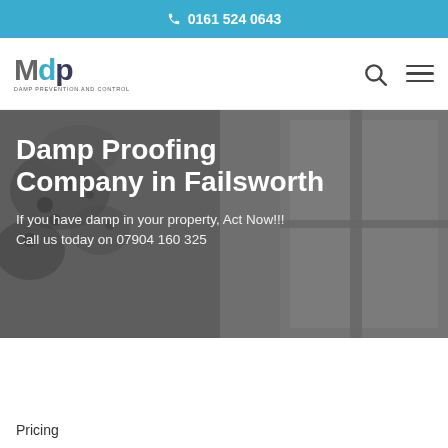0161 524 0643
[Figure (logo): MdP logo with tagline 'Damp Prevention and Control']
Damp Proofing Company in Failsworth
If you have damp in your property, Act Now!!!
Call us today on 07904 160 325
Pricing